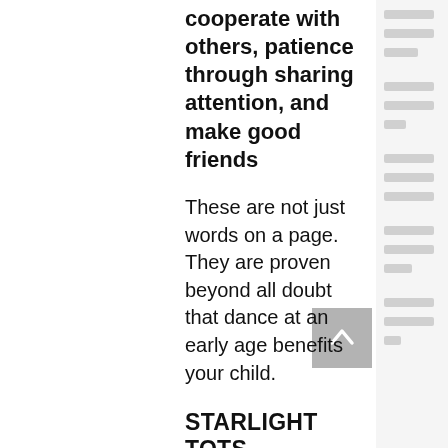cooperate with others, patience through sharing attention, and make good friends
These are not just words on a page. They are proven beyond all doubt that dance at an early age benefits your child.
STARLIGHT TOTS
BALLET and GENERAL MOVEMENT
Other classes include Musical Theatre (short course) for ages 4 (reception) - 16